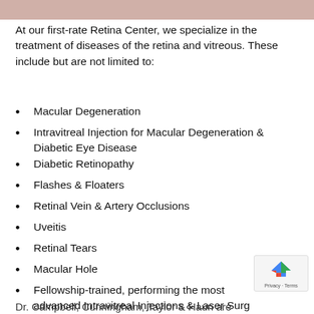[Figure (photo): Cropped image strip at top of page, showing partial medical/eye-related photos]
At our first-rate Retina Center, we specialize in the treatment of diseases of the retina and vitreous. These include but are not limited to:
Macular Degeneration
Intravitreal Injection for Macular Degeneration & Diabetic Eye Disease
Diabetic Retinopathy
Flashes & Floaters
Retinal Vein & Artery Occlusions
Uveitis
Retinal Tears
Macular Hole
Fellowship-trained, performing the most advanced Intravitreal Injections & Laser Surg
Dr. Campbell, Cunningham, Taylor & Haun are